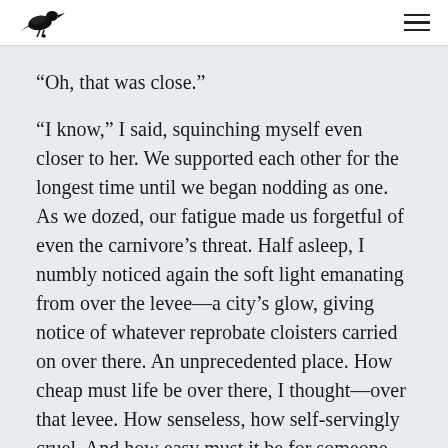[Crow logo] [Hamburger menu]
“Oh, that was close.”
“I know,” I said, squinching myself even closer to her. We supported each other for the longest time until we began nodding as one. As we dozed, our fatigue made us forgetful of even the carnivore’s threat. Half asleep, I numbly noticed again the soft light emanating from over the levee—a city’s glow, giving notice of whatever reprobate cloisters carried on over there. An unprecedented place. How cheap must life be over there, I thought—over that levee. How senseless, how self-servingly cruel. And how easy must it be for someone over there to end up over here on carcass beach. A civilization of cavemen. I want it—I take it. I